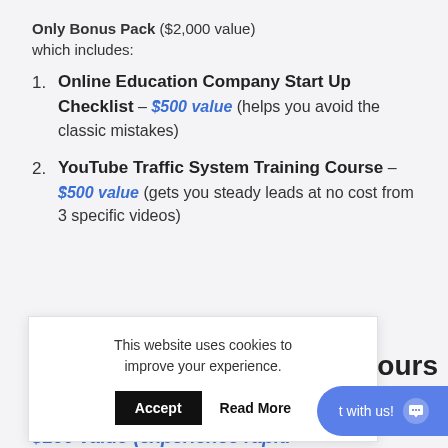Only Bonus Pack ($2,000 value) which includes:
Online Education Company Start Up Checklist – $500 value (helps you avoid the classic mistakes)
YouTube Traffic System Training Course – $500 value (gets you steady leads at no cost from 3 specific videos)
This website uses cookies to improve your experience.
Accept  Read More
$100 value (experience rapid...